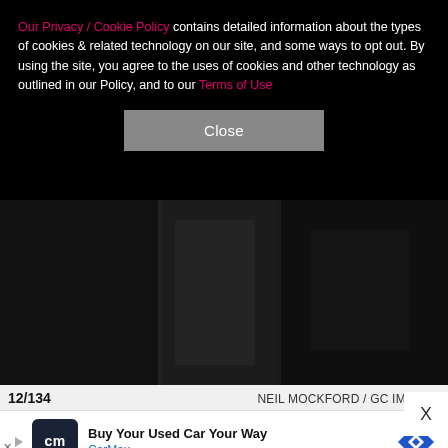Our Privacy / Cookie Policy contains detailed information about the types of cookies & related technology on our site, and some ways to opt out. By using the site, you agree to the uses of cookies and other technology as outlined in our Policy, and to our Terms of Use
[Figure (screenshot): Close button (gray) on dark background overlay]
[Figure (photo): Dark photo — silhouette of a person in a dim indoor setting]
12/134    NEIL MOCKFORD / GC IMAGES
Liam Payne stops by the Capital Breakfast radio studios in London on Dec. 6, 2019.
12/134
Liam Payne stops by the Capital Breakfast radio studi
[Figure (screenshot): CarMax advertisement banner: Buy Your Used Car Your Way]